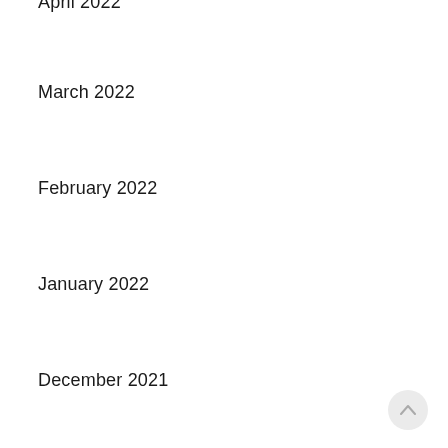April 2022
March 2022
February 2022
January 2022
December 2021
November 2021
October 2021
September 2021
August 2021
August 2020
July 2020